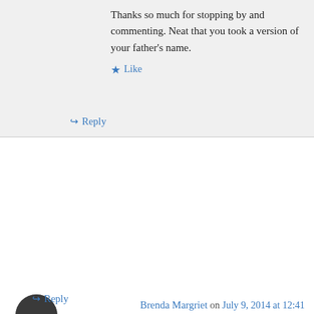Thanks so much for stopping by and commenting. Neat that you took a version of your father's name.
Like
Reply
Brenda Margriet on July 9, 2014 at 12:41 am
Thanks for the great introduction, Dani, and the mention of CHEF D'AMOUR! If you're looking for beta readers be sure to let me know!
Like
Reply